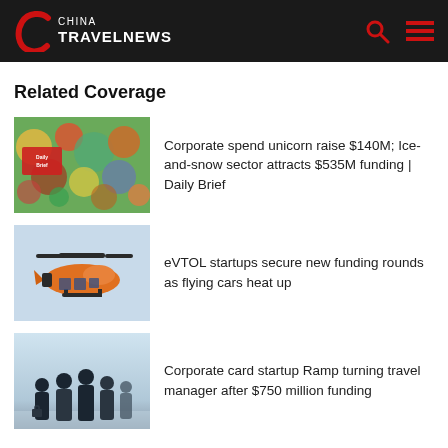China Travel News
Related Coverage
[Figure (photo): Colorful crowd photo with Daily Brief badge overlay]
Corporate spend unicorn raise $140M; Ice-and-snow sector attracts $535M funding | Daily Brief
[Figure (illustration): Orange eVTOL flying vehicle illustration on light blue background]
eVTOL startups secure new funding rounds as flying cars heat up
[Figure (photo): Business people silhouettes in airport or lobby setting]
Corporate card startup Ramp turning travel manager after $750 million funding